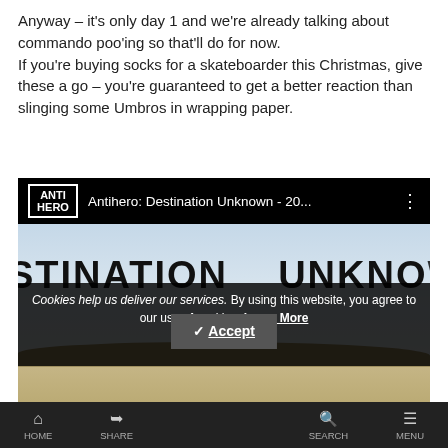Anyway – it's only day 1 and we're already talking about commando poo'ing so that'll do for now. If you're buying socks for a skateboarder this Christmas, give these a go – you're guaranteed to get a better reaction than slinging some Umbros in wrapping paper.
[Figure (screenshot): Embedded YouTube video player showing Antihero: Destination Unknown - 20... with the video paused on a frame showing text 'STINATION UNKNOW' in large handwritten letters over a desert landscape background.]
Cookies help us deliver our services. By using this website, you agree to our use of cookies. Learn More
HOME   SHARE   SEARCH   MENU